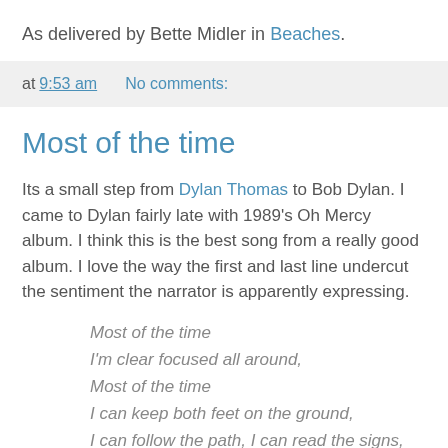As delivered by Bette Midler in Beaches.
at 9:53 am   No comments:
Most of the time
Its a small step from Dylan Thomas to Bob Dylan. I came to Dylan fairly late with 1989's Oh Mercy album. I think this is the best song from a really good album. I love the way the first and last line undercut the sentiment the narrator is apparently expressing.
Most of the time
I'm clear focused all around,
Most of the time
I can keep both feet on the ground,
I can follow the path, I can read the signs,
Stay right with it, when the road unwinds,